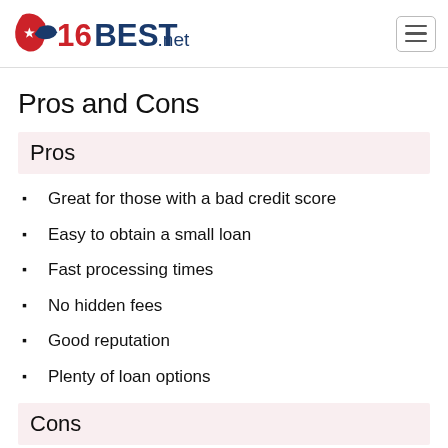16BEST.net
Pros and Cons
Pros
Great for those with a bad credit score
Easy to obtain a small loan
Fast processing times
No hidden fees
Good reputation
Plenty of loan options
Cons
Not a direct lender